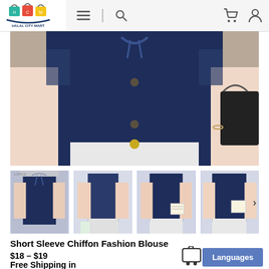[Figure (logo): Halal City Mart logo with shopping bags]
[Figure (photo): Main product photo: woman wearing navy blue short sleeve chiffon fashion blouse with buttons]
[Figure (photo): Thumbnail 1: navy blouse with bow tie collar]
[Figure (photo): Thumbnail 2: navy blouse front view]
[Figure (photo): Thumbnail 3: navy blouse side view]
[Figure (photo): Thumbnail 4: navy blouse alternate view]
Short Sleeve Chiffon Fashion Blouse
$18 – $19
Free Shipping in